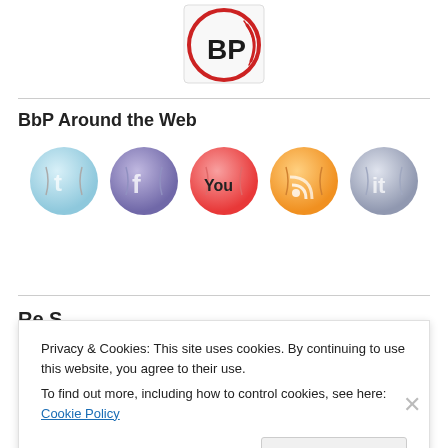[Figure (logo): BbP baseball-style logo with 'BP' letters in dark red on white background with red circular border]
BbP Around the Web
[Figure (illustration): Five baseball-themed social media icons: Twitter (light blue), Facebook (purple), YouTube (red/pink), RSS (orange), and another platform (grey/silver)]
Privacy & Cookies: This site uses cookies. By continuing to use this website, you agree to their use. To find out more, including how to control cookies, see here: Cookie Policy
Close and accept